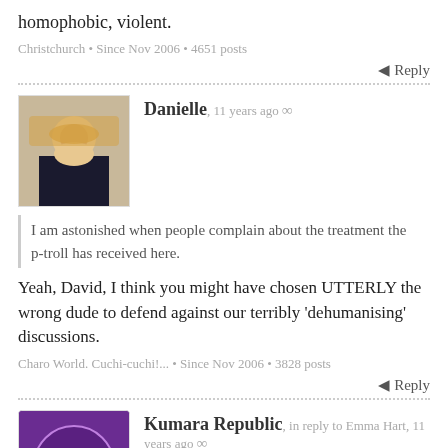homophobic, violent.
Christchurch • Since Nov 2006 • 4651 posts
Reply
Danielle, 11 years ago ∞
I am astonished when people complain about the treatment the p-troll has received here.
Yeah, David, I think you might have chosen UTTERLY the wrong dude to defend against our terribly 'dehumanising' discussions.
Charo World. Cuchi-cuchi!... • Since Nov 2006 • 3828 posts
Reply
Kumara Republic, in reply to Emma Hart, 11 years ago ∞
I am astonished when people complain about the treatment the p-troll has received here. I do...